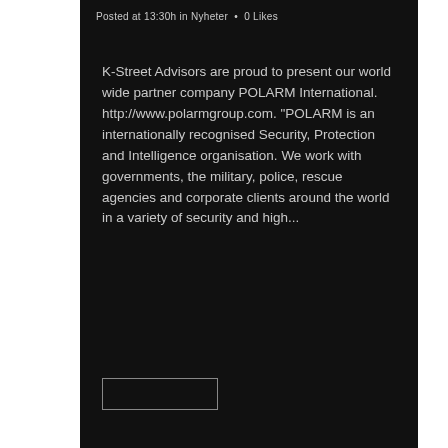Posted at 13:30h in Nyheter · 0 Likes
K-Street Advisors are proud to present our world wide partner company POLARM International. http://www.polarmgroup.com. "POLARM is an internationally recognised Security, Protection and Intelligence organisation. We work with governments, the military, police, rescue agencies and corporate clients around the world in a variety of security and high...
[Figure (other): Read more button rectangle outline]